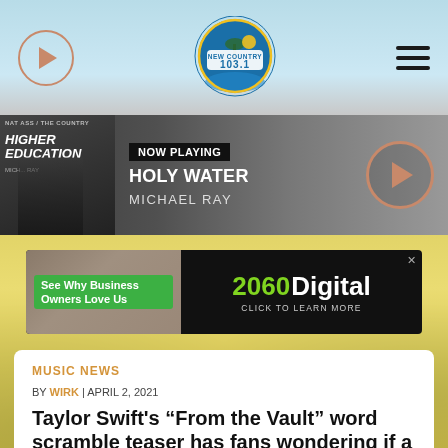New Country 103.1
[Figure (screenshot): Now Playing bar showing album art for Michael Ray's Higher Education album, NOW PLAYING label, song title HOLY WATER, artist MICHAEL RAY, and play button]
[Figure (infographic): Advertisement banner for 2060 Digital with green 'See Why Business Owners Love Us' button and click to learn more]
MUSIC NEWS
BY WIRK | APRIL 2, 2021
Taylor Swift’s “From the Vault” word scramble teaser has fans wondering if a Keith Urban collab is coming